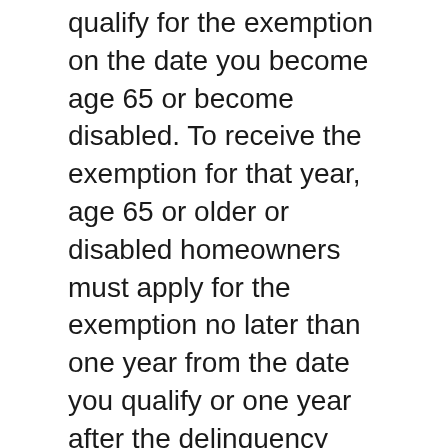qualify for the exemption on the date you become age 65 or become disabled. To receive the exemption for that year, age 65 or older or disabled homeowners must apply for the exemption no later than one year from the date you qualify or one year after the delinquency date.
Purchase
[Figure (other): Search bar with text input placeholder 'Search ...' and a dark gray search button with magnifying glass icon]
About me